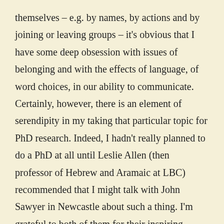themselves – e.g. by names, by actions and by joining or leaving groups – it's obvious that I have some deep obsession with issues of belonging and with the effects of language, of word choices, in our ability to communicate. Certainly, however, there is an element of serendipity in my taking that particular topic for PhD research. Indeed, I hadn't really planned to do a PhD at all until Leslie Allen (then professor of Hebrew and Aramaic at LBC) recommended that I might talk with John Sawyer in Newcastle about such a thing. I'm grateful to both of them for their inspiring teaching and intellectual guidance. And the reason that I moved away from the kind of research involved in my doctoral thesis is that I am not a good linguist. Leslie Allen and John Sawyer are brilliant linguists. I am hardly competent to use a dictionary. I might also note that John told a fellow student that I could help